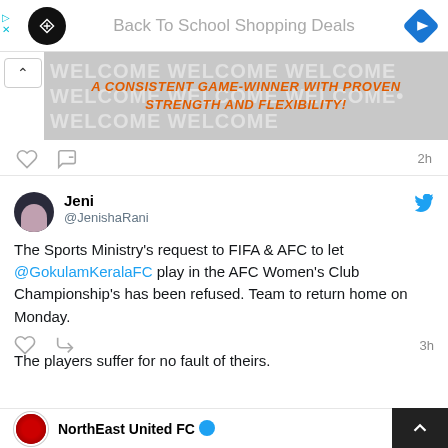[Figure (screenshot): Advertisement bar with circular logo on left, blue diamond navigation logo on right, and text 'Back To School Shopping Deals' in gray]
[Figure (screenshot): Welcome banner with repeated 'WELCOME' text in white and orange italic bold text overlay: 'A CONSISTENT GAME-WINNER WITH PROVEN STRENGTH AND FLEXIBILITY!']
2h
Jeni
@JenishaRani
The Sports Ministry's request to FIFA & AFC to let @GokulamKeralaFC play in the AFC Women's Club Championship's has been refused. Team to return home on Monday.

The players suffer for no fault of theirs.
3h
NorthEast United FC